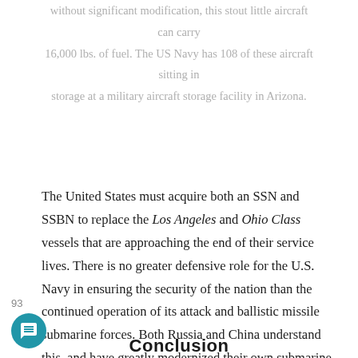without significant modification, this stout little aircraft can carry 16,000 lbs. of fuel. The US Navy has 108 of these aircraft sitting in storage at a military aircraft storage facility in Arizona.
The United States must acquire both an SSN and SSBN to replace the Los Angeles and Ohio Class vessels that are approaching the end of their service lives. There is no greater defensive role for the U.S. Navy in ensuring the security of the nation than the continued operation of its attack and ballistic missile submarine forces. Both Russia and China understand this, and have greatly modernized their own submarine forces. Much of the success they have achieved in pushing the envelope of submarine design was due to their intense competition with a U.S. Navy submarine force that was always the cutting edge of sub-surface warfare.
Conclusion